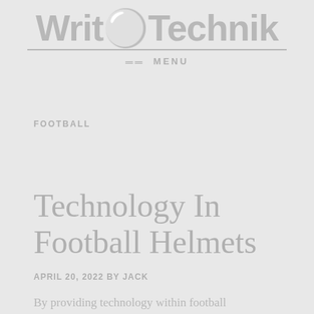WriteTechnik — MENU
FOOTBALL
Technology In Football Helmets
APRIL 20, 2022 by JACK
By providing technology within football